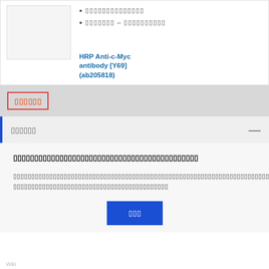[Figure (photo): Product image placeholder for antibody product]
[redacted text - bullet 1]
[redacted text - bullet 2]
HRP Anti-c-Myc antibody [Y69] (ab205818)
[redacted section header in non-Latin script]
[redacted accordion title in non-Latin script]
[redacted content title in non-Latin script]
[redacted body text with underlined link in non-Latin script]
[redacted button label in non-Latin script]
Wiki